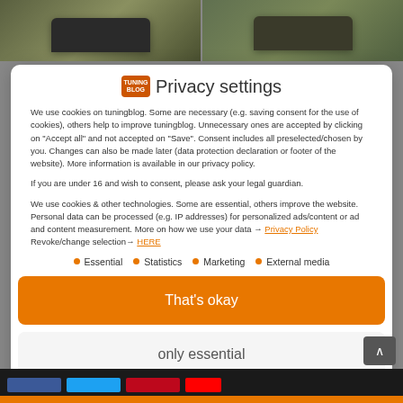[Figure (photo): Top strip showing two military-style vehicles on a road, side by side]
Privacy settings
We use cookies on tuningblog. Some are necessary (e.g. saving consent for the use of cookies), others help to improve tuningblog. Unnecessary ones are accepted by clicking on "Accept all" and not accepted on "Save". Consent includes all preselected/chosen by you. Changes can also be made later (data protection declaration or footer of the website). More information is available in our privacy policy.
If you are under 16 and wish to consent, please ask your legal guardian.
We use cookies & other technologies. Some are essential, others improve the website. Personal data can be processed (e.g. IP addresses) for personalized ads/content or ad and content measurement. More on how we use your data → Privacy Policy Revoke/change selection → HERE
Essential
Statistics
Marketing
External media
That's okay
only essential